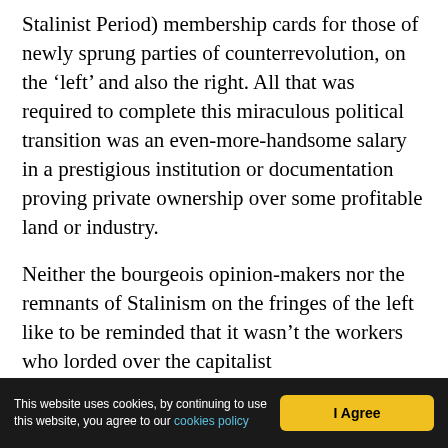Stalinist Period) membership cards for those of newly sprung parties of counterrevolution, on the ‘left’ and also the right. All that was required to complete this miraculous political transition was an even-more-handsome salary in a prestigious institution or documentation proving private ownership over some profitable land or industry.
Neither the bourgeois opinion-makers nor the remnants of Stalinism on the fringes of the left like to be reminded that it wasn’t the workers who lorded over the capitalist counterrevolution, but the most rotten, opportunist elements in and around the so-called Polish United Workers’ Party and the Solidarity trade union alliance…
This website uses cookies, by continuing to use this website, you agree to our cookies policy